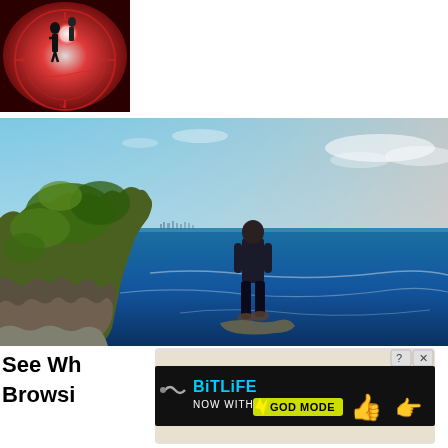[Figure (photo): Thumbnail image with dark silhouette figure on red compass/zodiac background with bright light flash effect]
[Figure (photo): Large landscape photo of a man in dark clothing standing on a rocky coastal cliff overlooking a deep blue ocean, with green vegetation on the left, distant city skyline on the horizon, and a bright blue sky with light clouds]
See Wh
Browsi
[Figure (screenshot): Advertisement banner for BitLife game: 'NOW WITH GOD MODE' text in yellow/green on black background, with a pointing hand icon, thumbs up emoji, and question mark/X close button in top right corner]